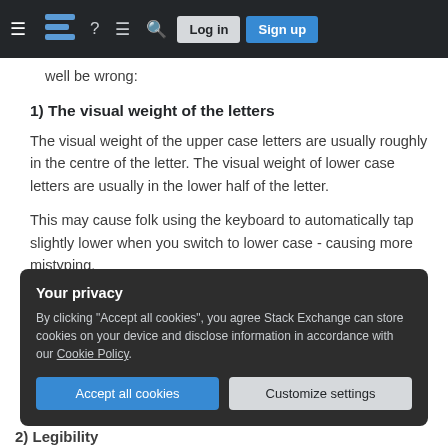Stack Exchange navigation bar with hamburger menu, logo, help, chat, search icons, Log in and Sign up buttons
well be wrong:
1) The visual weight of the letters
The visual weight of the upper case letters are usually roughly in the centre of the letter. The visual weight of lower case letters are usually in the lower half of the letter.
This may cause folk using the keyboard to automatically tap slightly lower when you switch to lower case - causing more mistyping.
Your privacy
By clicking "Accept all cookies", you agree Stack Exchange can store cookies on your device and disclose information in accordance with our Cookie Policy.
Accept all cookies   Customize settings
2) Legibility